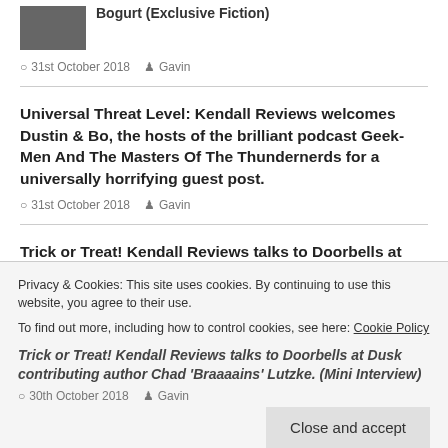[Figure (photo): Small thumbnail photo of a person]
Bogurt (Exclusive Fiction)
31st October 2018   Gavin
Universal Threat Level: Kendall Reviews welcomes Dustin & Bo, the hosts of the brilliant podcast Geek-Men And The Masters Of The Thundernerds for a universally horrifying guest post.
31st October 2018   Gavin
Trick or Treat! Kendall Reviews talks to Doorbells at Dusk contributing author Curtis 'Vampire Hunter' Lawson.
30th October 2018   Gavin
Privacy & Cookies: This site uses cookies. By continuing to use this website, you agree to their use.
To find out more, including how to control cookies, see here: Cookie Policy
Trick or Treat! Kendall Reviews talks to Doorbells at Dusk contributing author Chad 'Braaaains' Lutzke. (Mini Interview)
30th October 2018   Gavin